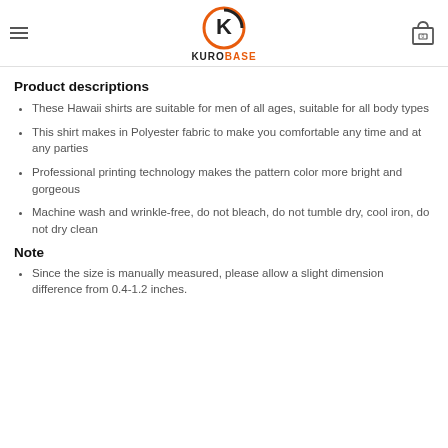KUROBASE
Product descriptions
These Hawaii shirts are suitable for men of all ages, suitable for all body types
This shirt makes in Polyester fabric to make you comfortable any time and at any parties
Professional printing technology makes the pattern color more bright and gorgeous
Machine wash and wrinkle-free, do not bleach, do not tumble dry, cool iron, do not dry clean
Note
Since the size is manually measured, please allow a slight dimension difference from 0.4-1.2 inches.